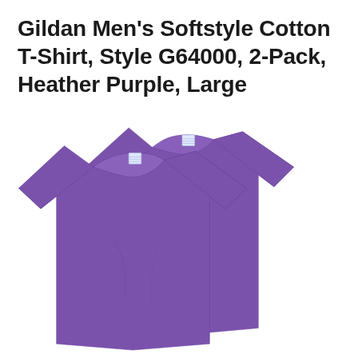Gildan Men's Softstyle Cotton T-Shirt, Style G64000, 2-Pack, Heather Purple, Large
[Figure (photo): Two heather purple Gildan men's t-shirts laid flat, overlapping, showing front view. Both shirts have small white Gildan labels at the collar. The shirts are a medium-dark purple/heather purple color.]